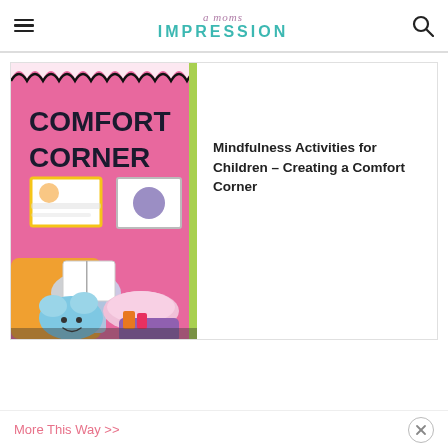a moms impression
[Figure (photo): A child sitting in a comfort corner reading a book, with a blue cloud stuffed animal, pink fluffy pillows, and a bright pink bulletin board that says COMFORT CORNER]
Mindfulness Activities for Children – Creating a Comfort Corner
More This Way >>